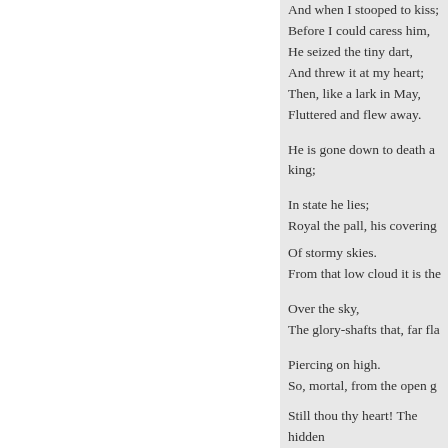And when I stooped to kiss; Before I could caress him, He seized the tiny dart, And threw it at my heart; Then, like a lark in May, Fluttered and flew away.

He is gone down to death a king;

In state he lies; Royal the pall, his covering Of stormy skies. From that low cloud it is the

Over the sky, The glory-shafts that, far fla

Piercing on high. So, mortal, from the open g

Of dear Hope lost The rays surge up in golden

Still thou thy heart! The hidden